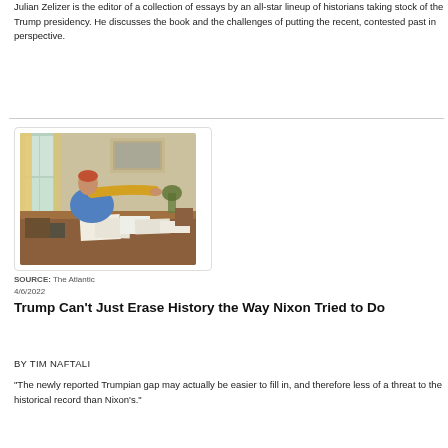Julian Zelizer is the editor of a collection of essays by an all-star lineup of historians taking stock of the Trump presidency. He discusses the book and the challenges of putting the recent, contested past in perspective.
[Figure (photo): A person sitting at a large wooden desk covered with papers and documents, reaching across the desk in an office setting with curtains and a painting on the wall in the background.]
SOURCE: The Atlantic
4/6/2022
Trump Can't Just Erase History the Way Nixon Tried to Do
BY TIM NAFTALI
"The newly reported Trumpian gap may actually be easier to fill in, and therefore less of a threat to the historical record than Nixon's."